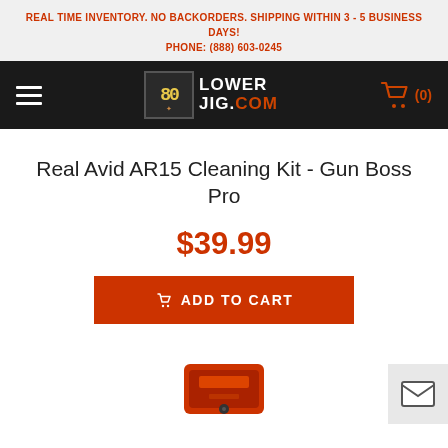REAL TIME INVENTORY. NO BACKORDERS. SHIPPING WITHIN 3 - 5 BUSINESS DAYS!
PHONE: (888) 603-0245
[Figure (logo): 80 Lower Jig .com logo with hamburger menu and shopping cart icon (0) on dark navigation bar]
Real Avid AR15 Cleaning Kit - Gun Boss Pro
$39.99
ADD TO CART
[Figure (photo): Real Avid AR15 Cleaning Kit Gun Boss Pro product image, partially visible at bottom of page]